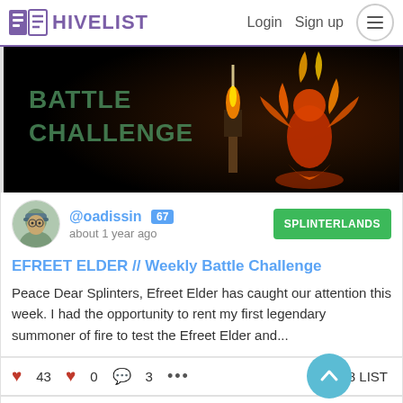HIVELIST   Login   Sign up
[Figure (screenshot): Dark banner image showing 'BATTLE CHALLENGE' text on the left and a fiery fantasy character on the right]
@oadissin 67   about 1 year ago   SPLINTERLANDS
EFREET ELDER // Weekly Battle Challenge
Peace Dear Splinters, Efreet Elder has caught our attention this week. I had the opportunity to rent my first legendary summoner of fire to test the Efreet Elder and...
43   0   3   ...   12.328 LIST